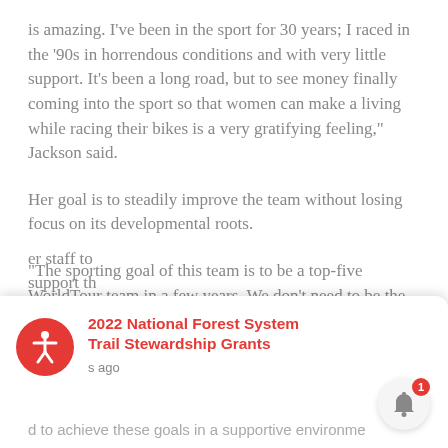is amazing. I've been in the sport for 30 years; I raced in the '90s in horrendous conditions and with very little support. It's been a long road, but to see money finally coming into the sport so that women can make a living while racing their bikes is a very gratifying feeling," Jackson said.
Her goal is to steadily improve the team without losing focus on its developmental roots.
“The sporting goal of this team is to be a top-five WorldTour team in a few years. We don’t need to be the number one team in the world. That’s not my objective. My objective is to help these women reach their potential,” she said. “To become Olympians, world champions, World Championship participants, whatever their goals are. EF’s ... er staff to ... support th... d to achieve these goals in a supportive environme...
[Figure (other): Ad card overlay at bottom with red accessibility icon, link title '2022 National Forest System Trail Stewardship Grants', timestamp text 's ago', and partial bottom text 'd to achieve these goals in a supportive environme'. Also shows a black X close button and a red notification bell with badge number 1.]